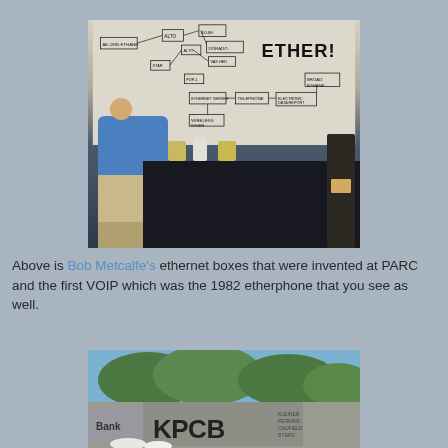[Figure (photo): Bob Metcalfe standing in front of a white wall display showing an Ethernet network diagram labeled 'ETHER!' with boxes and connecting lines. In the foreground are vintage ethernet boxes and telephone equipment on a black display table.]
Above is Bob Metcalfe's ethernet boxes that were invented at PARC and the first VOIP which was the 1982 etherphone that you see as well.
[Figure (photo): Outdoor sign for KPCB (Kleiner Perkins Caufield Byers) with trees in the background. A partial 'Bank' sign is visible on the left.]